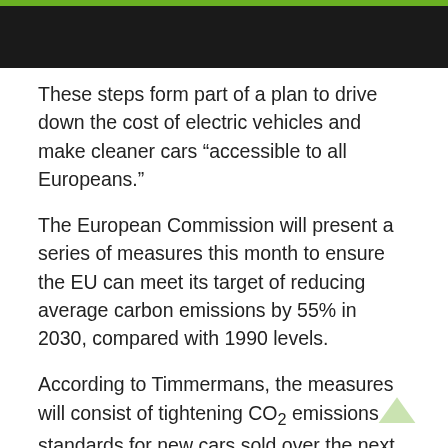Navigation bar with home, menu, search, and shuffle icons
These steps form part of a plan to drive down the cost of electric vehicles and make cleaner cars “accessible to all Europeans.”
The European Commission will present a series of measures this month to ensure the EU can meet its target of reducing average carbon emissions by 55% in 2030, compared with 1990 levels.
According to Timmermans, the measures will consist of tightening CO₂ emissions standards for new cars sold over the next decade, as well as a proposal for carmakers to pay for polluting under the EU’s market-driven emissions trading scheme.
Timmermans told the FT: “We have to do these